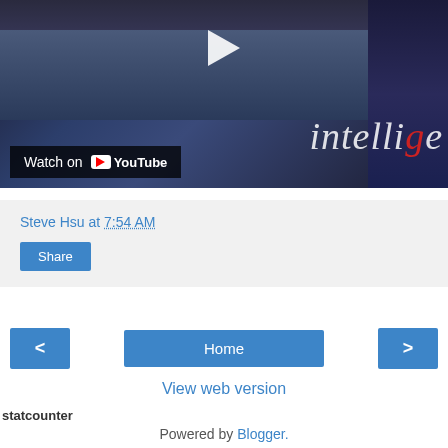[Figure (screenshot): YouTube video thumbnail showing a panel discussion at a conference table with a blue cloth. The right side shows partial text 'intellige' in italic script. A play button is visible at top center. A 'Watch on YouTube' overlay is at bottom left.]
Steve Hsu at 7:54 AM
Share
< | Home | >
View web version
statcounter
Powered by Blogger.